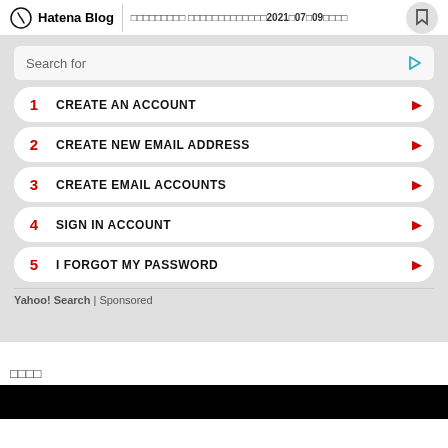Hatena Blog | □□□□□□□□□ □□□□□□□□□□□□□2021□07□09□□□□
Search for
1  CREATE AN ACCOUNT
2  CREATE NEW EMAIL ADDRESS
3  CREATE EMAIL ACCOUNTS
4  SIGN IN ACCOUNT
5  I FORGOT MY PASSWORD
Yahoo! Search | Sponsored
□□□□
[Figure (other): Black bar at bottom of page]